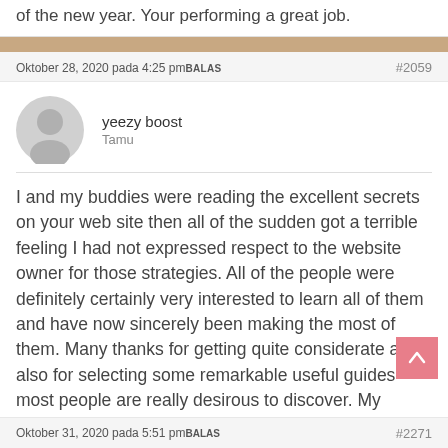of the new year. Your performing a great job.
Oktober 28, 2020 pada 4:25 pmBALAS #2059
yeezy boost
Tamu
I and my buddies were reading the excellent secrets on your web site then all of the sudden got a terrible feeling I had not expressed respect to the website owner for those strategies. All of the people were definitely certainly very interested to learn all of them and have now sincerely been making the most of them. Many thanks for getting quite considerate and also for selecting some remarkable useful guides most people are really desirous to discover. My honest regret for not expressing appreciation to earlier.
Oktober 31, 2020 pada 5:51 pmBALAS #2271